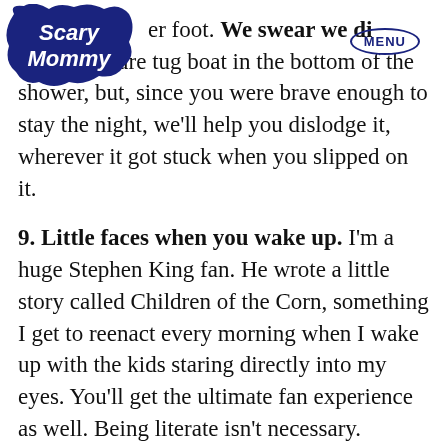[Figure (logo): Scary Mommy logo — white cursive text on dark navy blue cloud/speech-bubble shape]
er foot. We swear we di[d not leave] that miniature tug boat in the bottom of the shower, but, since you were brave enough to stay the night, we'll help you dislodge it, wherever it got stuck when you slipped on it.
9. Little faces when you wake up. I'm a huge Stephen King fan. He wrote a little story called Children of the Corn, something I get to reenact every morning when I wake up with the kids staring directly into my eyes. You'll get the ultimate fan experience as well. Being literate isn't necessary.